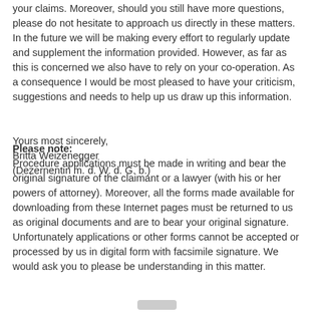your claims. Moreover, should you still have more questions, please do not hesitate to approach us directly in these matters. In the future we will be making every effort to regularly update and supplement the information provided. However, as far as this is concerned we also have to rely on your co-operation. As a consequence I would be most pleased to have your criticism, suggestions and needs to help up us draw up this information.
Yours most sincerely,
Britta Weizenegger
(Dezernentin m. d. W. d. G. b.)
Please note: Procedure applications must be made in writing and bear the original signature of the claimant or a lawyer (with his or her powers of attorney). Moreover, all the forms made available for downloading from these Internet pages must be returned to us as original documents and are to bear your original signature. Unfortunately applications or other forms cannot be accepted or processed by us in digital form with facsimile signature. We would ask you to please be understanding in this matter.